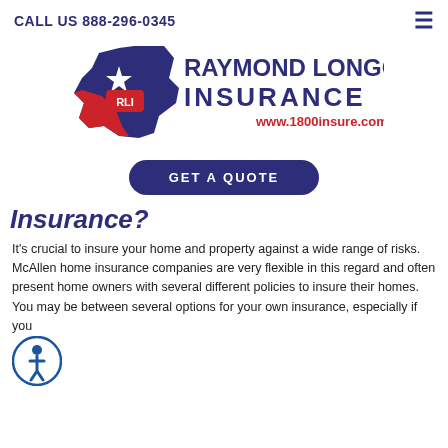CALL US 888-296-0345
[Figure (logo): Raymond Longoria Insurance logo with Texas state outline in blue and red, RLI initials, and www.1800insure.com URL]
GET A QUOTE
Insurance?
It's crucial to insure your home and property against a wide range of risks. McAllen home insurance companies are very flexible in this regard and often present home owners with several different policies to insure their homes. You may be between several options for your own insurance, especially if you